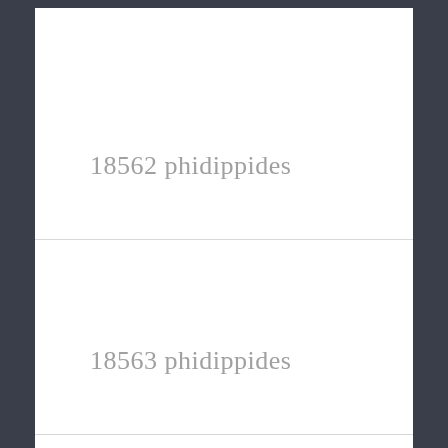| 18562 | phidippides | 22 | 201.238 |
| 18563 | phidippides | 22 | 201.238 |